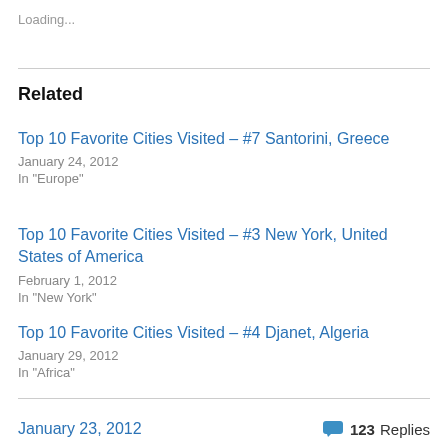Loading...
Related
Top 10 Favorite Cities Visited – #7 Santorini, Greece
January 24, 2012
In "Europe"
Top 10 Favorite Cities Visited – #3 New York, United States of America
February 1, 2012
In "New York"
Top 10 Favorite Cities Visited – #4 Djanet, Algeria
January 29, 2012
In "Africa"
January 23, 2012   123 Replies